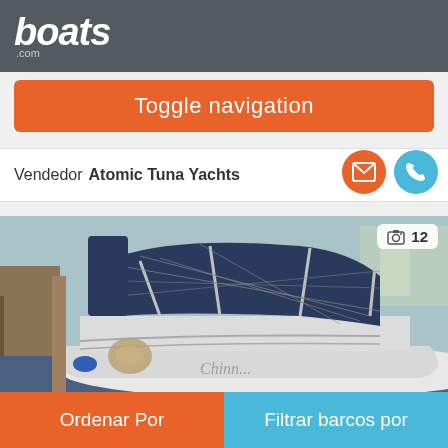boats.com
Toggle navigation
Vendedor Atomic Tuna Yachts
[Figure (photo): Sailboat docked at marina with blue bimini top and safety netting, photo counter showing 12 images]
Ordenar Por
Filtrar barcos por